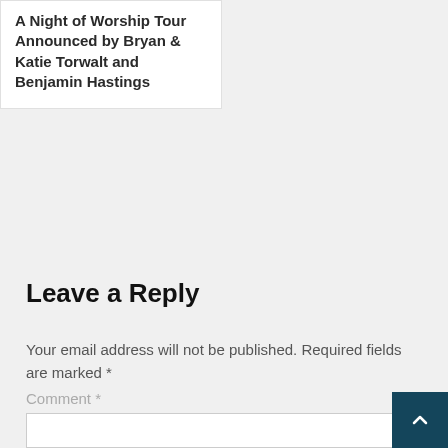A Night of Worship Tour Announced by Bryan & Katie Torwalt and Benjamin Hastings
Leave a Reply
Your email address will not be published. Required fields are marked *
Comment *